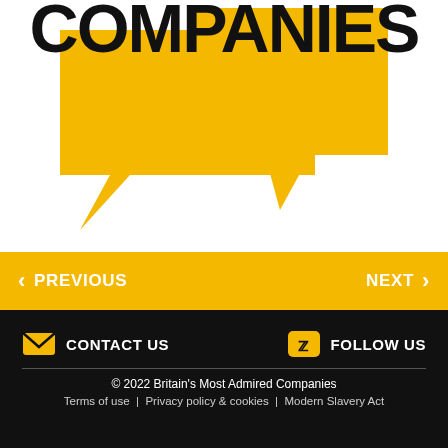[Figure (logo): Britain's Most Admired Companies logo — yellow speech bubble shapes with bold black text 'COMPANIES' at the top (partially cropped)]
< PREVIOUS    NEXT >
CONTACT US  |  FOLLOW US
© 2022 Britain's Most Admired Companies
Terms of use | Privacy policy & cookies | Modern Slavery Act